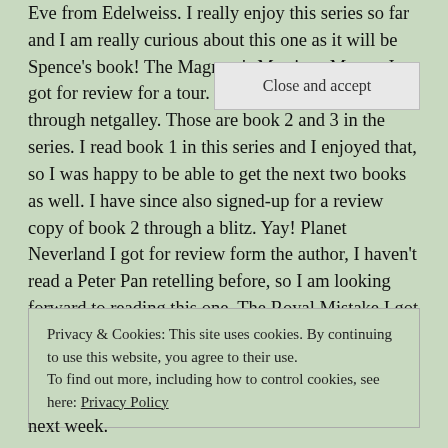Eve from Edelweiss. I really enjoy this series so far and I am really curious about this one as it will be Spence's book! The Magnate's Marriage Merger I got for review for a tour. His Accidental Heir I got through netgalley. Those are book 2 and 3 in the series. I read book 1 in this series and I enjoyed that, so I was happy to be able to get the next two books as well. I have since also signed-up for a review copy of book 2 through a blitz. Yay! Planet Neverland I got for review form the author, I haven't read a Peter Pan retelling before, so I am looking forward to reading this one. The Royal Mistake I got for review form the author. I've read and reviewed the first two books and enjoyed both of those (review for book 2 was on the blog
Privacy & Cookies: This site uses cookies. By continuing to use this website, you agree to their use.
To find out more, including how to control cookies, see here: Privacy Policy
Close and accept
next week.